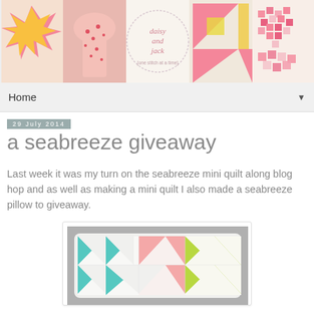[Figure (photo): Blog header banner showing five quilting/sewing images including quilt blocks, a dress, and the blog logo 'daisy and jack (one stitch at a time)']
Home ▼
29 July 2014
a seabreeze giveaway
Last week it was my turn on the seabreeze mini quilt along blog hop and as well as making a mini quilt I also made a seabreeze pillow to giveaway.
[Figure (photo): A quilted pillow with teal/mint and pink and green triangle pinwheel-like pattern blocks on a grey background]